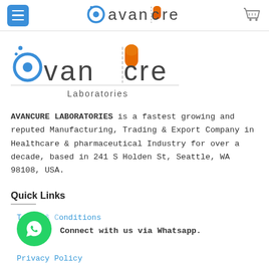Avancure Laboratories navigation bar with hamburger menu and cart icon
[Figure (logo): Avancure Cure Laboratories logo with blue 'avan' text, orange capsule and 'cüre' text, and 'Laboratories' subtitle]
AVANCURE LABORATORIES is a fastest growing and reputed Manufacturing, Trading & Export Company in Healthcare & pharmaceutical Industry for over a decade, based in 241 S Holden St, Seattle, WA 98108, USA.
Quick Links
Terms & Conditions
Connect with us via Whatsapp.
Privacy Policy